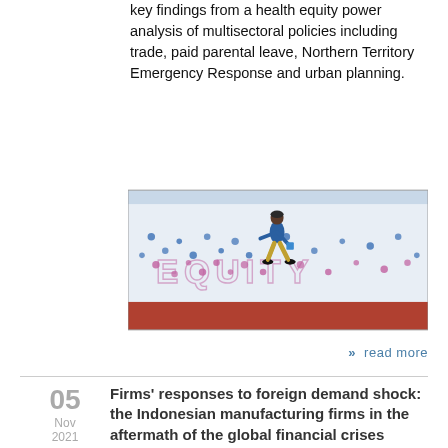key findings from a health equity power analysis of multisectoral policies including trade, paid parental leave, Northern Territory Emergency Response and urban planning.
[Figure (photo): A mural on a wall showing a figure walking with the word 'EQUITY' spelled out in colorful dots and letters.]
» read more
Firms' responses to foreign demand shock: the Indonesian manufacturing firms in the aftermath of the global financial crises
Sulistiyo K. Ardiyono
Aggregate level studies have